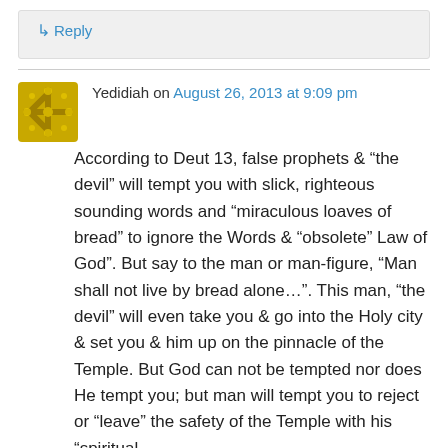↳ Reply
Yedidiah on August 26, 2013 at 9:09 pm
According to Deut 13, false prophets & “the devil” will tempt you with slick, righteous sounding words and “miraculous loaves of bread” to ignore the Words & “obsolete” Law of God”. But say to the man or man-figure, “Man shall not live by bread alone…”. This man, “the devil” will even take you & go into the Holy city & set you & him up on the pinnacle of the Temple. But God can not be tempted nor does He tempt you; but man will tempt you to reject or “leave” the safety of the Temple with his “spiritual